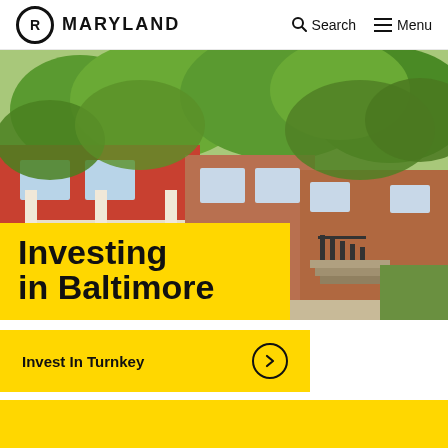Maryland | Search | Menu
[Figure (photo): Photograph of Baltimore rowhouses with red brick facades, white trim porches, colorful front doors (blue and red), steps, and lush green trees overhead.]
Investing in Baltimore
Invest In Turnkey